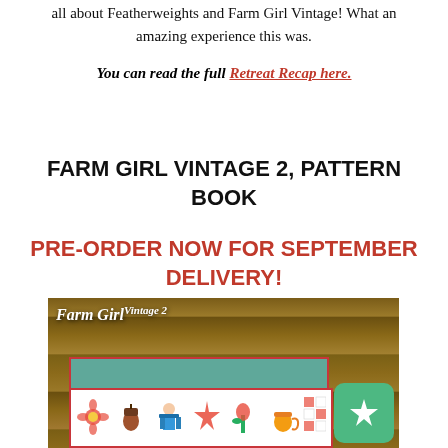all about Featherweights and Farm Girl Vintage! What an amazing experience this was.
You can read the full Retreat Recap here.
FARM GIRL VINTAGE 2, PATTERN BOOK
PRE-ORDER NOW FOR SEPTEMBER DELIVERY!
[Figure (photo): Book cover of Farm Girl Vintage 2 showing white script text on wood plank background, with a quilt sampler strip along the bottom featuring colorful patchwork blocks, and a green badge with a quilt star icon in the lower right corner.]